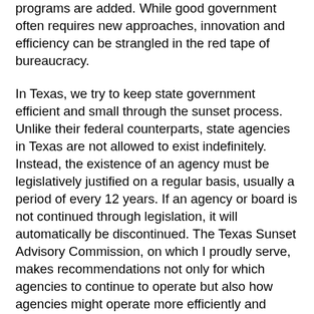programs are added. While good government often requires new approaches, innovation and efficiency can be strangled in the red tape of bureaucracy.
In Texas, we try to keep state government efficient and small through the sunset process. Unlike their federal counterparts, state agencies in Texas are not allowed to exist indefinitely. Instead, the existence of an agency must be legislatively justified on a regular basis, usually a period of every 12 years. If an agency or board is not continued through legislation, it will automatically be discontinued. The Texas Sunset Advisory Commission, on which I proudly serve, makes recommendations not only for which agencies to continue to operate but also how agencies might operate more efficiently and better serve the public. The commission meets and votes year round, not just during session. Since 1977, when Sunset began in Texas, 78 agencies have been abolished including 37 agencies that were completely abolished and 41 that were abolished with some functions transferred to other agencies. In 2011, the Legislature completely abolished two agencies and transferred the duties of four others. I guarantee you won't miss them. Sunset reforms from the last legislative session are